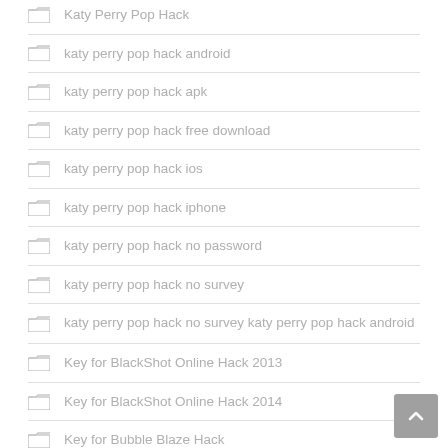Katy Perry Pop Hack
katy perry pop hack android
katy perry pop hack apk
katy perry pop hack free download
katy perry pop hack ios
katy perry pop hack iphone
katy perry pop hack no password
katy perry pop hack no survey
katy perry pop hack no survey katy perry pop hack android
Key for BlackShot Online Hack 2013
Key for BlackShot Online Hack 2014
Key for Bubble Blaze Hack